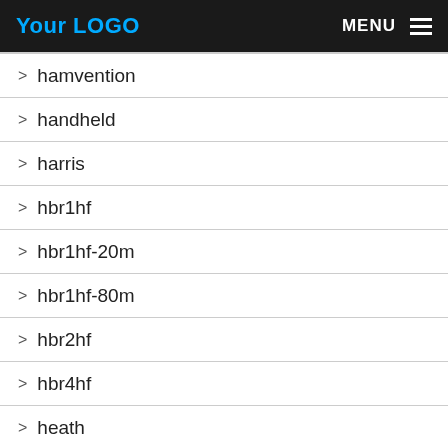Your LOGO | MENU
> hamvention
> handheld
> harris
> hbr1hf
> hbr1hf-20m
> hbr1hf-80m
> hbr2hf
> hbr4hf
> heath
> heathkit
> heil